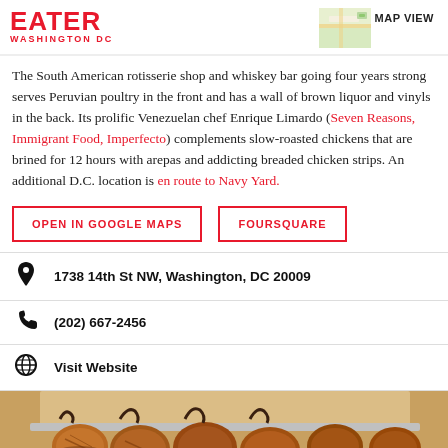EATER WASHINGTON DC | MAP VIEW
The South American rotisserie shop and whiskey bar going four years strong serves Peruvian poultry in the front and has a wall of brown liquor and vinyls in the back. Its prolific Venezuelan chef Enrique Limardo (Seven Reasons, Immigrant Food, Imperfecto) complements slow-roasted chickens that are brined for 12 hours with arepas and addicting breaded chicken strips. An additional D.C. location is en route to Navy Yard.
OPEN IN GOOGLE MAPS
FOURSQUARE
1738 14th St NW, Washington, DC 20009
(202) 667-2456
Visit Website
[Figure (photo): Photo of rotisserie chicken skewers cooking on a rotisserie spit]